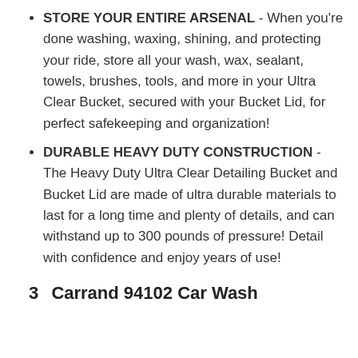STORE YOUR ENTIRE ARSENAL - When you're done washing, waxing, shining, and protecting your ride, store all your wash, wax, sealant, towels, brushes, tools, and more in your Ultra Clear Bucket, secured with your Bucket Lid, for perfect safekeeping and organization!
DURABLE HEAVY DUTY CONSTRUCTION - The Heavy Duty Ultra Clear Detailing Bucket and Bucket Lid are made of ultra durable materials to last for a long time and plenty of details, and can withstand up to 300 pounds of pressure! Detail with confidence and enjoy years of use!
3    Carrand 94102 Car Wash